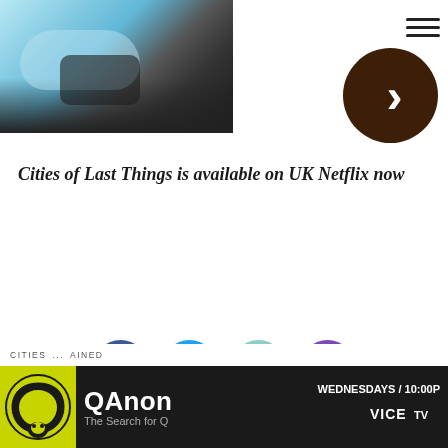REFINERY29
[Figure (photo): Close-up photo of what appears to be a person wearing a light blue surgical mask or medical equipment, with dark equipment visible. Navigation chevron button overlaid on right side.]
Cities of Last Things is available on UK Netflix now
[Figure (infographic): Social sharing icons: Facebook (blue circle with f), Twitter (cyan circle with bird), Email (teal circle with envelope), Comment (purple circle with speech bubble)]
CITIES ... AINED
[Figure (screenshot): QAnon The Search for Q advertisement banner. WEDNESDAYS / 10:00P. VICE TV logo. Yellow circular QAnon logo on left.]